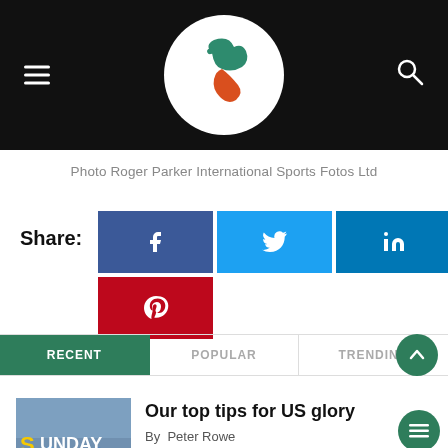[Figure (logo): Sports website header with hamburger menu icon on left, circular logo with bird/feather graphic in center on black background, search icon on right]
Photo Roger Parker International Sports Fotos Ltd
Share: [Facebook] [Twitter] [LinkedIn] [Pinterest]
RECENT   POPULAR   TRENDING
Our top tips for US glory
By  Peter Rowe